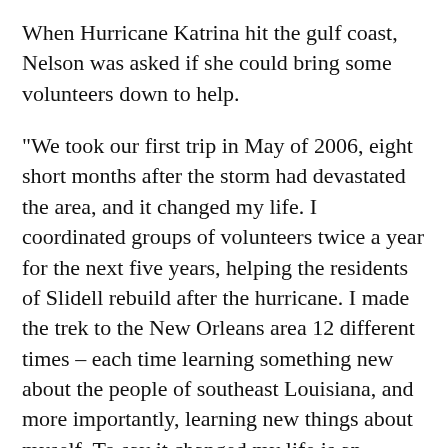When Hurricane Katrina hit the gulf coast, Nelson was asked if she could bring some volunteers down to help.
"We took our first trip in May of 2006, eight short months after the storm had devastated the area, and it changed my life. I coordinated groups of volunteers twice a year for the next five years, helping the residents of Slidell rebuild after the hurricane. I made the trek to the New Orleans area 12 different times – each time learning something new about the people of southeast Louisiana, and more importantly, learning new things about myself. To say it changed my life is an understatement – it helped make me who I am today."
In June 2014, Nelson was hired as the executive director for the Rockford Area Habitat for Humanity affiliate.
"Combining my volunteer passion with my profession was a dream come true for me and I've been so blessed